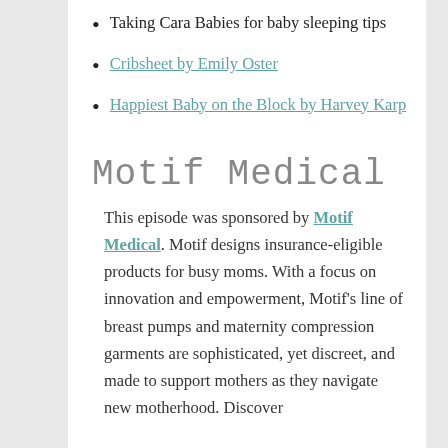Taking Cara Babies for baby sleeping tips
Cribsheet by Emily Oster
Happiest Baby on the Block by Harvey Karp
Motif Medical
This episode was sponsored by Motif Medical. Motif designs insurance-eligible products for busy moms. With a focus on innovation and empowerment, Motif's line of breast pumps and maternity compression garments are sophisticated, yet discreet, and made to support mothers as they navigate new motherhood. Discover